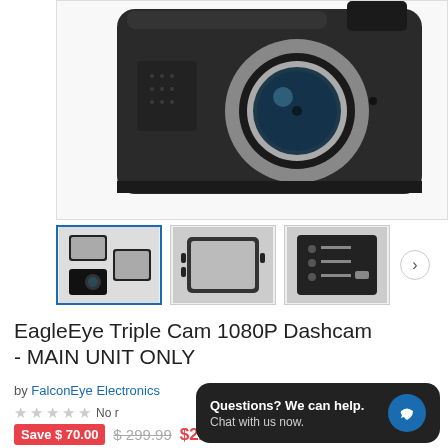[Figure (photo): Product photo of EagleyEye Triple Cam 1080P Dashcam, main unit, angled top-down view showing camera body with lens]
[Figure (photo): Thumbnail 1 (selected/active): dashcam front and rear views]
[Figure (photo): Thumbnail 2: dashcam back display screen view]
[Figure (photo): Thumbnail 3: dashcam ports and connector diagram]
EagleEye Triple Cam 1080P Dashcam - MAIN UNIT ONLY
by FalconEye Electronics
☆☆☆☆☆ No reviews
Save $ 70.00  $ 299.99  $ 229.99
Questions? We can help. Chat with us now.